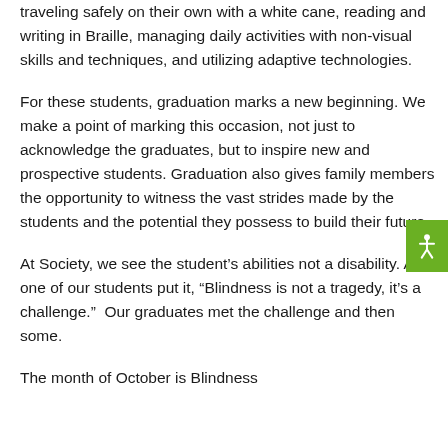traveling safely on their own with a white cane, reading and writing in Braille, managing daily activities with non-visual skills and techniques, and utilizing adaptive technologies.
For these students, graduation marks a new beginning. We make a point of marking this occasion, not just to acknowledge the graduates, but to inspire new and prospective students. Graduation also gives family members the opportunity to witness the vast strides made by the students and the potential they possess to build their future.
At Society, we see the student's abilities not a disability. As one of our students put it, “Blindness is not a tragedy, it’s a challenge.”  Our graduates met the challenge and then some.
The month of October is Blindness...
[Figure (other): Green accessibility icon button with white person/figure symbol on the right edge of the page]